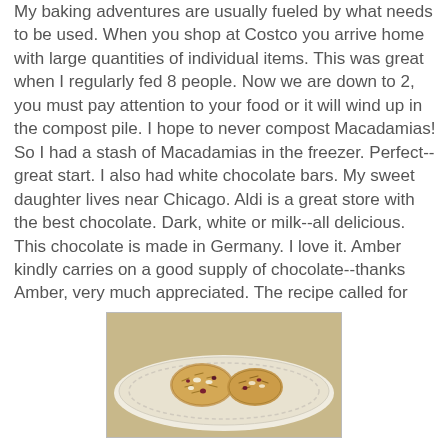My baking adventures are usually fueled by what needs to be used. When you shop at Costco you arrive home with large quantities of individual items. This was great when I regularly fed 8 people. Now we are down to 2, you must pay attention to your food or it will wind up in the compost pile. I hope to never compost Macadamias! So I had a stash of Macadamias in the freezer. Perfect--great start. I also had white chocolate bars. My sweet daughter lives near Chicago. Aldi is a great store with the best chocolate. Dark, white or milk--all delicious. This chocolate is made in Germany. I love it. Amber kindly carries on a good supply of chocolate--thanks Amber, very much appreciated. The recipe called for dried cranberries. Again I had large bags of dried cherries and blueberries from Costco.
These ingredients combined with the addition of oatmeal and a little cinnamon resulted in one amazing cookie. White chocolate is sweet--dried cherries are tart together the are delicious. This could be my new favorite cookie! Thanks to Gold Medal Flour for an excellent recipe.
[Figure (photo): A plate with cookies featuring oatmeal, white chocolate, and dried fruit on a decorative white plate]